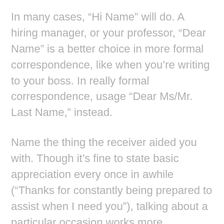In many cases, “Hi Name” will do. A hiring manager, or your professor, “Dear Name” is a better choice in more formal correspondence, like when you’re writing to your boss. In really formal correspondence, usage “Dear Ms/Mr. Last Name,” instead.
Name the thing the receiver aided you with. Though it’s fine to state basic appreciation every once in awhile (“Thanks for constantly being prepared to assist when I need you”), talking about a particular occasion works more effectively (“Thanks for setting up additional time to help make our presentation a success.”)
Offer a couple of particular details. You can add items that that were was done by the person